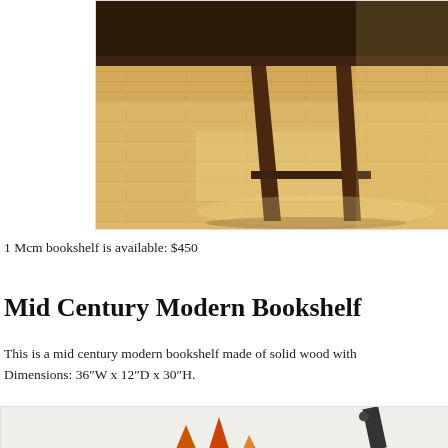[Figure (photo): Close-up photo of a mid century modern wooden bookshelf leg and base on a hardwood floor, showing warm brown wood tones]
1 Mcm bookshelf is available: $450
Mid Century Modern Bookshelf
This is a mid century modern bookshelf made of solid wood with Dimensions: 36″W x 12″D x 30″H.
[Figure (photo): Photo showing decorative items including small orange figurines and a dark object against a light background]